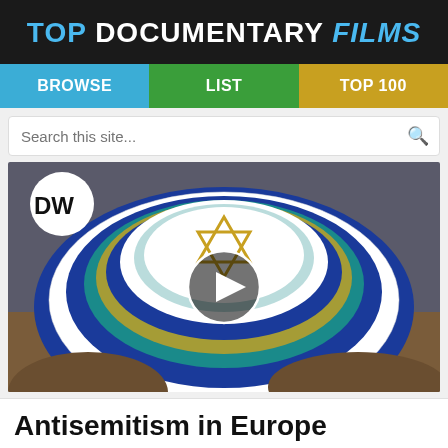TOP DOCUMENTARY FILMS
[Figure (screenshot): Navigation bar with BROWSE, LIST, and TOP 100 buttons]
[Figure (screenshot): Search bar with placeholder text 'Search this site...']
[Figure (photo): Photo of a Jewish kippah (yarmulke) with blue, white, and teal crocheted pattern and a gold Star of David, with a DW logo overlay and a play button in the center]
Antisemitism in Europe